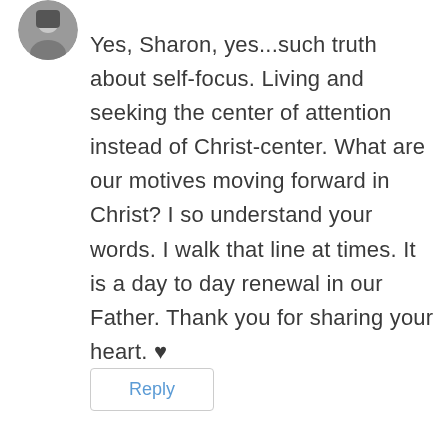[Figure (photo): Small circular avatar photo of a person wearing dark clothing, partially cropped at top]
Yes, Sharon, yes...such truth about self-focus. Living and seeking the center of attention instead of Christ-center. What are our motives moving forward in Christ? I so understand your words. I walk that line at times. It is a day to day renewal in our Father. Thank you for sharing your heart. ♥
Reply